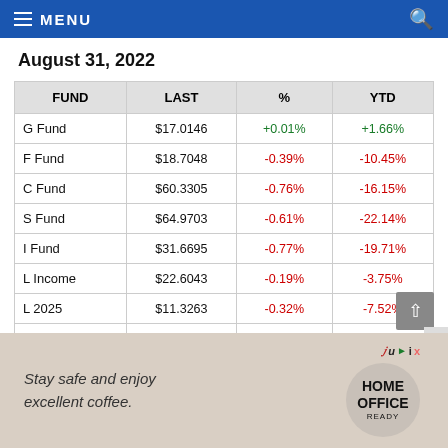MENU
August 31, 2022
| FUND | LAST | % | YTD |
| --- | --- | --- | --- |
| G Fund | $17.0146 | +0.01% | +1.66% |
| F Fund | $18.7048 | -0.39% | -10.45% |
| C Fund | $60.3305 | -0.76% | -16.15% |
| S Fund | $64.9703 | -0.61% | -22.14% |
| I Fund | $31.6695 | -0.77% | -19.71% |
| L Income | $22.6043 | -0.19% | -3.75% |
| L 2025 | $11.3263 | -0.32% | -7.52% |
| L 2030 | $38.7643 | -0.47% | -11.04% |
[Figure (other): Advertisement banner: Stay safe and enjoy excellent coffee. HOME OFFICE READY logo.]